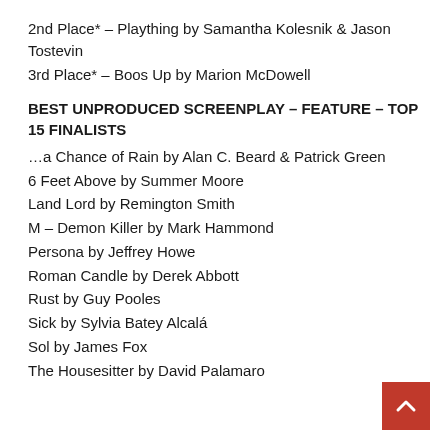2nd Place* – Plaything by Samantha Kolesnik & Jason Tostevin
3rd Place* – Boos Up by Marion McDowell
BEST UNPRODUCED SCREENPLAY – FEATURE – TOP 15 FINALISTS
…a Chance of Rain by Alan C. Beard & Patrick Green
6 Feet Above by Summer Moore
Land Lord by Remington Smith
M – Demon Killer by Mark Hammond
Persona by Jeffrey Howe
Roman Candle by Derek Abbott
Rust by Guy Pooles
Sick by Sylvia Batey Alcalá
Sol by James Fox
The Housesitter by David Palamaro